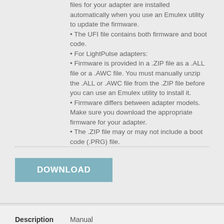files for your adapter are installed automatically when you use an Emulex utility to update the firmware.
The UFI file contains both firmware and boot code.
For LightPulse adapters:
Firmware is provided in a .ZIP file as a .ALL file or a .AWC file. You must manually unzip the .ALL or .AWC file from the .ZIP file before you can use an Emulex utility to install it.
Firmware differs between adapter models. Make sure you download the appropriate firmware for your adapter.
The .ZIP file may or may not include a boot code (.PRG) file.
DOWNLOAD
Description
Manual